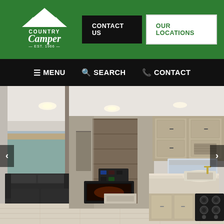[Figure (logo): Country Camper logo - white mountain graphic with text 'Country Camper EST. 1966' on green background]
CONTACT US | OUR LOCATIONS
≡ MENU  🔍 SEARCH  📞 CONTACT
[Figure (photo): Interior photo of a travel trailer/RV showing living area with dark leather sofa on left, light wood flooring, kitchen area with sink and stove on right, cabinets, and hallway leading to back bedroom. Navigation arrows on sides.]